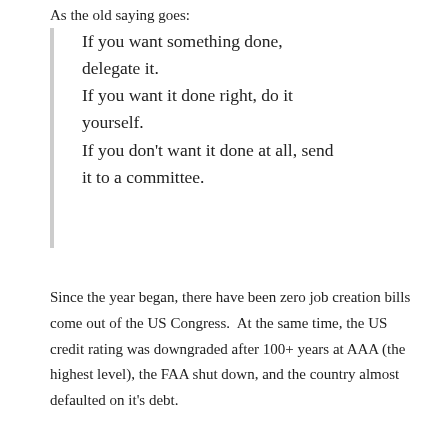As the old saying goes:
If you want something done, delegate it.
If you want it done right, do it yourself.
If you don't want it done at all, send it to a committee.
Since the year began, there have been zero job creation bills come out of the US Congress.  At the same time, the US credit rating was downgraded after 100+ years at AAA (the highest level), the FAA shut down, and the country almost defaulted on it's debt.